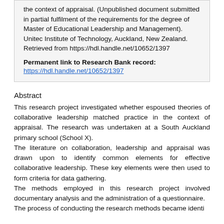the context of appraisal. (Unpublished document submitted in partial fulfilment of the requirements for the degree of Master of Educational Leadership and Management). Unitec Institute of Technology, Auckland, New Zealand. Retrieved from https://hdl.handle.net/10652/1397
Permanent link to Research Bank record: https://hdl.handle.net/10652/1397
Abstract
This research project investigated whether espoused theories of collaborative leadership matched practice in the context of appraisal. The research was undertaken at a South Auckland primary school (School X). The literature on collaboration, leadership and appraisal was drawn upon to identify common elements for effective collaborative leadership. These key elements were then used to form criteria for data gathering. The methods employed in this research project involved documentary analysis and the administration of a questionnaire. The process of conducted the research methods became significant.